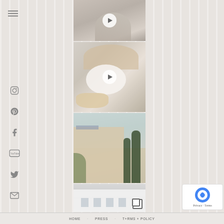[Figure (photo): Person in white clothing sitting near a pool or water, video thumbnail with play button]
[Figure (photo): Food scene with soup in white bowl, flatbread, mushrooms and a baked dish, video thumbnail with play button]
[Figure (photo): Exterior of a Provençal style house with cypress trees and climbing vines]
[Figure (photo): White architectural building exterior, partial view with copy/layers icon]
HOME   PRESS   T+RMS + POLICY